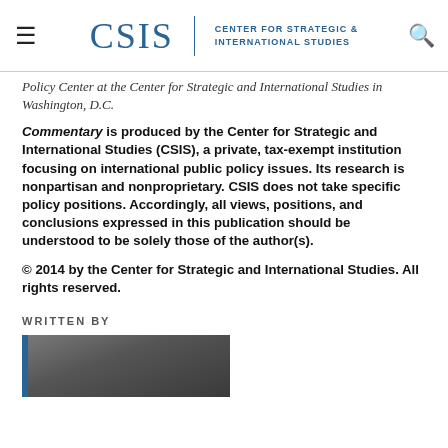CSIS | CENTER FOR STRATEGIC & INTERNATIONAL STUDIES
Policy Center at the Center for Strategic and International Studies in Washington, D.C.
Commentary is produced by the Center for Strategic and International Studies (CSIS), a private, tax-exempt institution focusing on international public policy issues. Its research is nonpartisan and nonproprietary. CSIS does not take specific policy positions. Accordingly, all views, positions, and conclusions expressed in this publication should be understood to be solely those of the author(s).
© 2014 by the Center for Strategic and International Studies. All rights reserved.
WRITTEN BY
[Figure (photo): Author headshot photo, partially visible, with blue left accent bar]